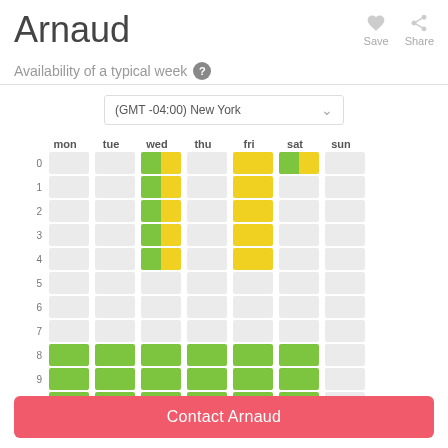Arnaud
Save
Share
Availability of a typical week
(GMT -04:00) New York
[Figure (table-as-image): Weekly availability grid showing hours 0-10 for days mon/tue/wed/thu/fri/sat/sun. Wed rows 0-4 show green+yellow split cells. Fri rows 0-4 show yellow cells. Sat row 0 shows green+yellow split. Rows 8-10 for mon/tue/wed/thu/fri/sat show green cells.]
Contact Arnaud